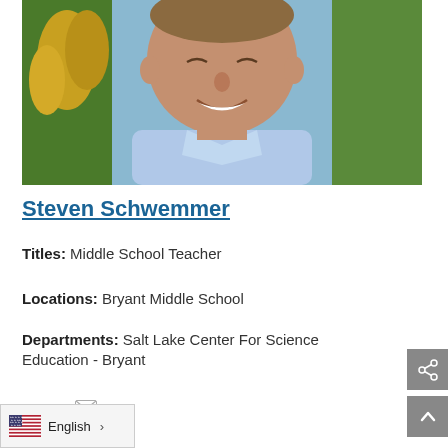[Figure (photo): Profile photo of Steven Schwemmer, a man in a light blue shirt smiling outdoors with yellow flowers in the background]
Steven Schwemmer
Titles: Middle School Teacher
Locations: Bryant Middle School
Departments: Salt Lake Center For Science Education - Bryant
Email: [envelope icon]
English >